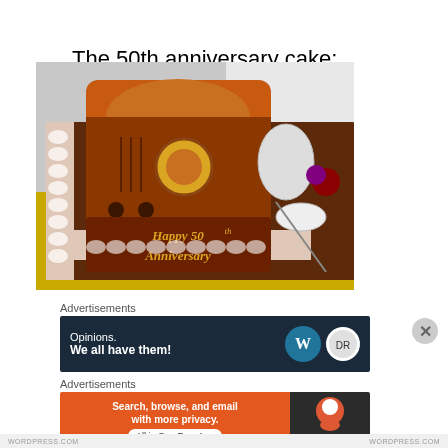The 50th anniversary cake:
[Figure (photo): A decorated anniversary cake shaped like a vintage radio, with 'Happy 50th Anniversary' written in gold icing on chocolate frosting, placed on a yellow tablecloth with plates and fruit in the background.]
Advertisements
[Figure (screenshot): Dark navy advertisement banner reading 'Opinions. We all have them!' with WordPress and Dave Rubin logos on the right.]
Advertisements
[Figure (screenshot): Orange and dark advertisement banner for DuckDuckGo reading 'Search, browse, and email with more privacy. All in One Free App' with DuckDuckGo logo on the right.]